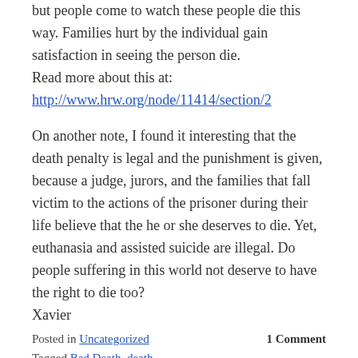way. However, it is not only supported by states but people come to watch these people die this way. Families hurt by the individual gain satisfaction in seeing the person die. Read more about this at: http://www.hrw.org/node/11414/section/2
On another note, I found it interesting that the death penalty is legal and the punishment is given, because a judge, jurors, and the families that fall victim to the actions of the prisoner during their life believe that the he or she deserves to die. Yet, euthanasia and assisted suicide are illegal. Do people suffering in this world not deserve to have the right to die too? Xavier
Posted in Uncategorized    1 Comment
Tagged Bad Death, death, injection, lethal, penalty, xavier